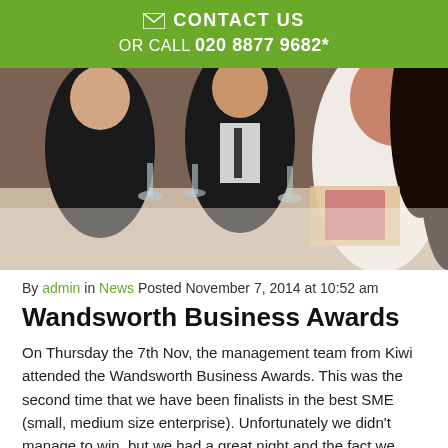✉ CONTACT US
OR CALL 020 8877 9682*
[Figure (photo): People in formal wear seated at a dinner table with wine glasses, at an awards ceremony event.]
By admin in News Posted November 7, 2014 at 10:52 am
Wandsworth Business Awards
On Thursday the 7th Nov, the management team from Kiwi attended the Wandsworth Business Awards. This was the second time that we have been finalists in the best SME (small, medium size enterprise). Unfortunately we didn't manage to win, but we had a great night and the fact we have made the